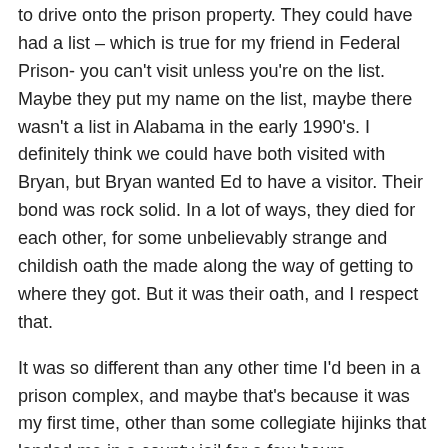to drive onto the prison property. They could have had a list – which is true for my friend in Federal Prison- you can't visit unless you're on the list. Maybe they put my name on the list, maybe there wasn't a list in Alabama in the early 1990's. I definitely think we could have both visited with Bryan, but Bryan wanted Ed to have a visitor. Their bond was rock solid. In a lot of ways, they died for each other, for some unbelievably strange and childish oath the made along the way of getting to where they got. But it was their oath, and I respect that.
It was so different than any other time I'd been in a prison complex, and maybe that's because it was my first time, other than some collegiate hijinks that landed me in a county jail for a few hours.
Thanks for taking the time to read another person's reflections from Death Row visits.
Reply